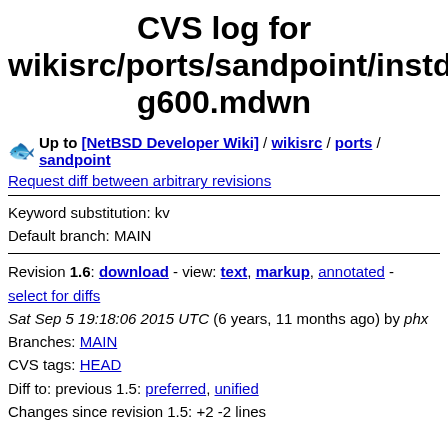CVS log for wikisrc/ports/sandpoint/instdsmg600.mdwn
Up to [NetBSD Developer Wiki] / wikisrc / ports / sandpoint
Request diff between arbitrary revisions
Keyword substitution: kv
Default branch: MAIN
Revision 1.6: download - view: text, markup, annotated - select for diffs
Sat Sep 5 19:18:06 2015 UTC (6 years, 11 months ago) by phx
Branches: MAIN
CVS tags: HEAD
Diff to: previous 1.5: preferred, unified
Changes since revision 1.5: +2 -2 lines